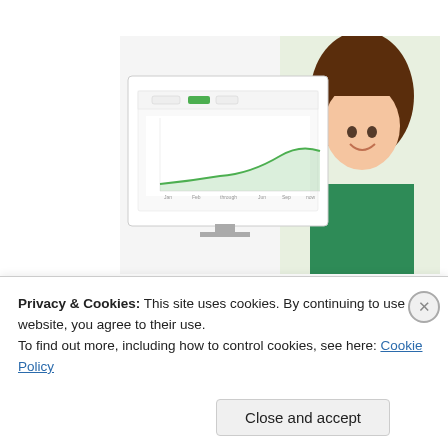Advertisements
[Figure (logo): Parse.ly logo with green leaf icon and bold text 'Parse.ly']
[Figure (screenshot): Parse.ly advertisement image showing analytics dashboard and smiling woman in green shirt]
Rae Longest on September 3, 2016 at 10:32
How do I sign on to follow?
Privacy & Cookies: This site uses cookies. By continuing to use this website, you agree to their use.
To find out more, including how to control cookies, see here: Cookie Policy